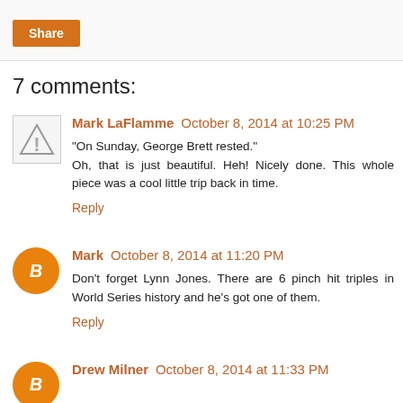[Figure (other): Share button with orange background]
7 comments:
Mark LaFlamme October 8, 2014 at 10:25 PM
"On Sunday, George Brett rested."
Oh, that is just beautiful. Heh! Nicely done. This whole piece was a cool little trip back in time.
Reply
Mark October 8, 2014 at 11:20 PM
Don't forget Lynn Jones. There are 6 pinch hit triples in World Series history and he's got one of them.
Reply
Drew Milner October 8, 2014 at 11:33 PM